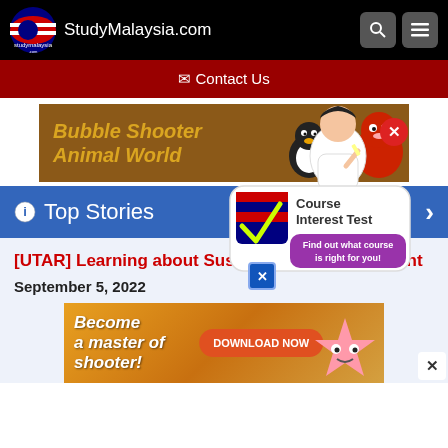StudyMalaysia.com
Contact Us
[Figure (photo): Bubble Shooter Animal World game advertisement banner with cartoon animal characters on brown background]
Top Stories
[UTAR] Learning about Sustainability Management
September 5, 2022
[Figure (infographic): Course Interest Test popup advertisement with Malaysian flag checkmark logo and person thinking. Text: Course Interest Test - Find out what course is right for you!]
[Figure (photo): Mobile game advertisement: Become a master of shooter! DOWNLOAD NOW button with colorful star character]